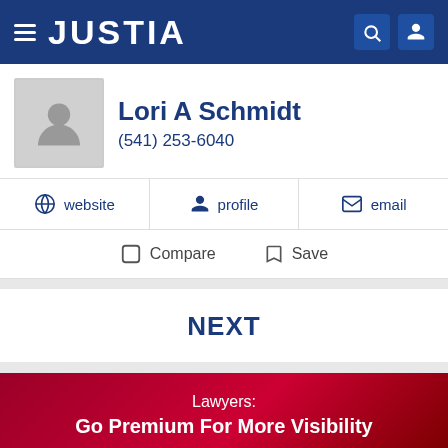JUSTIA
Lori A Schmidt
(541) 253-6040
website
profile
email
Compare
Save
NEXT
Lawyers:
Go Premium For More Visibility
Recent (0)	Saved (0)	Compare (0/3)